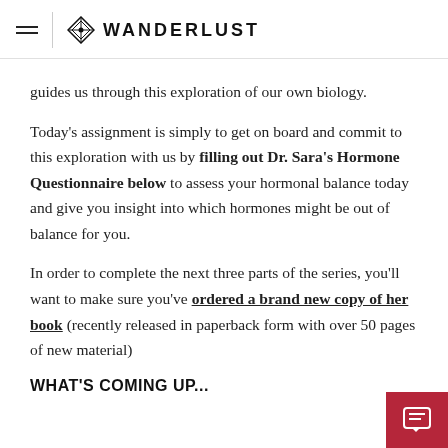WANDERLUST
guides us through this exploration of our own biology.
Today's assignment is simply to get on board and commit to this exploration with us by filling out Dr. Sara's Hormone Questionnaire below to assess your hormonal balance today and give you insight into which hormones might be out of balance for you.
In order to complete the next three parts of the series, you'll want to make sure you've ordered a brand new copy of her book (recently released in paperback form with over 50 pages of new material)
WHAT'S COMING UP...